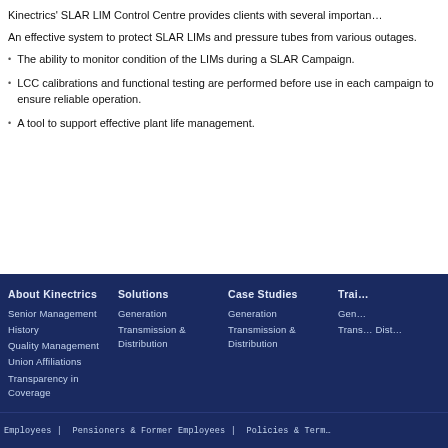Kinectrics' SLAR LIM Control Centre provides clients with several important benefits:
An effective system to protect SLAR LIMs and pressure tubes from various outages.
The ability to monitor condition of the LIMs during a SLAR Campaign.
LCC calibrations and functional testing are performed before use in each campaign to ensure reliable operation.
A tool to support effective plant life management.
About Kinectrics | Solutions | Case Studies | Training | Senior Management | Generation | Generation | Generation | History | Transmission & Distribution | Transmission & Distribution | Transmission & Distribution | Quality Management | Union Affiliations | Transparency in Coverage
Employees | Pensioners & Former Employees | Policies & Terms